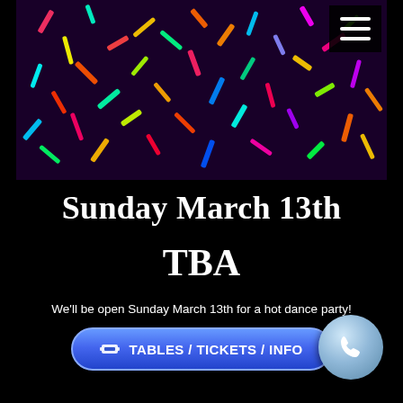[Figure (photo): Colorful neon confetti/light streaks on dark purple background — hero image for a dance party event]
Sunday March 13th
TBA
We'll be open Sunday March 13th for a hot dance party!
TABLES / TICKETS / INFO